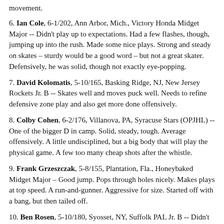movement.
6. Ian Cole, 6-1/202, Ann Arbor, Mich., Victory Honda Midget Major -- Didn't play up to expectations. Had a few flashes, though, jumping up into the rush. Made some nice plays. Strong and steady on skates – sturdy would be a good word – but not a great skater. Defensively, he was solid, though not exactly eye-popping.
7. David Kolomatis, 5-10/165, Basking Ridge, NJ, New Jersey Rockets Jr. B -- Skates well and moves puck well. Needs to refine defensive zone play and also get more done offensively.
8. Colby Cohen, 6-2/176, Villanova, PA, Syracuse Stars (OPJHL) -- One of the bigger D in camp. Solid, steady, tough. Average offensively. A little undisciplined, but a big body that will play the physical game. A few too many cheap shots after the whistle.
9. Frank Grzeszczak, 5-8/155, Plantation, Fla., Honeybaked Midget Major – Good jump. Pops through holes nicely. Makes plays at top speed. A run-and-gunner. Aggressive for size. Started off with a bang, but then tailed off.
10. Ben Rosen, 5-10/180, Syosset, NY, Suffolk PAL Jr. B -- Didn't play as well as expected.
11. Ted Ruth, 6-0/173, Naperville, Ill., Chicago Mission Midget